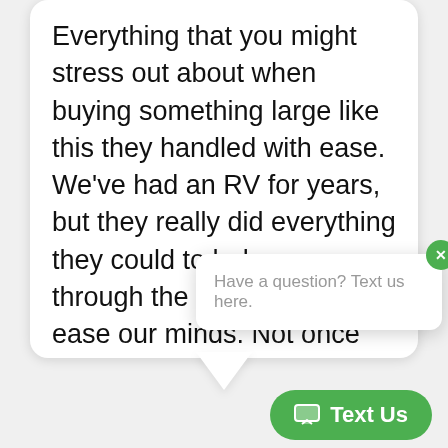Everything that you might stress out about when buying something large like this they handled with ease. We've had an RV for years, but they really did everything they could to help us through the process and ease our minds. Not once did I feel rushed or pushed into something I didn't love. I was sold when I saw the RV of my dreams and then they just kept making it better, giving us a starter pack. The whole process start to finish was very easy and I couldn't be h
- Cry...
Have a question? Text us here.
Text Us